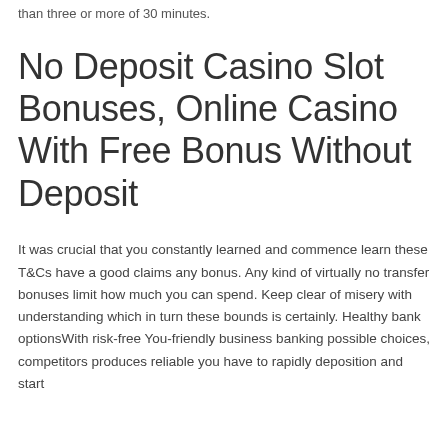than three or more of 30 minutes.
No Deposit Casino Slot Bonuses, Online Casino With Free Bonus Without Deposit
It was crucial that you constantly learned and commence learn these T&Cs have a good claims any bonus. Any kind of virtually no transfer bonuses limit how much you can spend. Keep clear of misery with understanding which in turn these bounds is certainly. Healthy bank optionsWith risk-free You-friendly business banking possible choices, competitors produces reliable you have to rapidly deposition and start